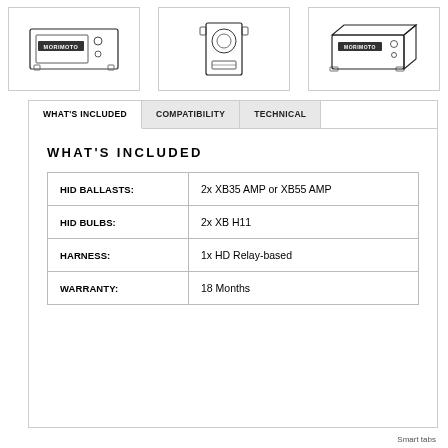[Figure (illustration): Three Morimoto HID ballast/device illustrations shown side by side in bordered boxes: front view of ballast, side view of ballast bracket, and angled view of ballast]
| WHAT'S INCLUDED | COMPATIBILITY | TECHNICAL |
| --- | --- | --- |
| HID BALLASTS: | 2x XB35 AMP or XB55 AMP |
| HID BULBS: | 2x XB H11 |
| HARNESS: | 1x HD Relay-based |
| WARRANTY: | 18 Months |
Smart tabs